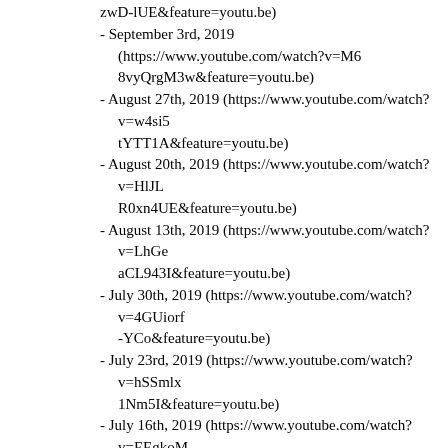zwD-lUE&feature=youtu.be)
- September 3rd, 2019 (https://www.youtube.com/watch?v=M68vyQrgM3w&feature=youtu.be)
- August 27th, 2019 (https://www.youtube.com/watch?v=w4si5tYTT1A&feature=youtu.be)
- August 20th, 2019 (https://www.youtube.com/watch?v=HlJLR0xn4UE&feature=youtu.be)
- August 13th, 2019 (https://www.youtube.com/watch?v=LhGeaCL943I&feature=youtu.be)
- July 30th, 2019 (https://www.youtube.com/watch?v=4GUiorf-YCo&feature=youtu.be)
- July 23rd, 2019 (https://www.youtube.com/watch?v=hSSmlx1Nm5I&feature=youtu.be)
- July 16th, 2019 (https://www.youtube.com/watch?v=EEgkoMGcPiU&feature=youtu.be)
- July 9th, 2019 (https://www.youtube.com/watch?v=3UN798XFrUY&feature=youtu.be)
- June 18th, 2019 (https://www.youtube.com/watch?v=jGNcWCH-0rE&feature=youtu.be)
- May 28th, 2019 (https://www.youtube.com/watch?v=DLfkA4pRw2Q&feature=youtu.be)
- May 14th, 2019 (https://www.youtube.com/watch?v=0zZeF4uSk-M&feature=youtu.be)
- May 7th, 2019 (https://www.youtube.com/watch?v=_vh0Fk8DBUA&feature=youtu.be)